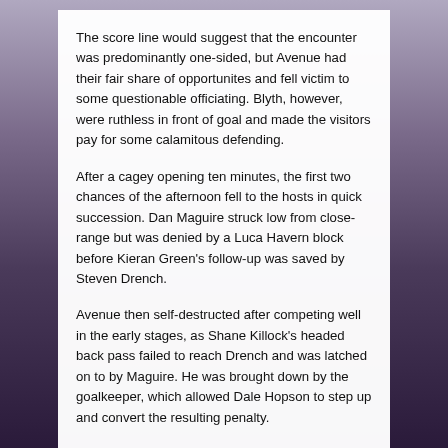The score line would suggest that the encounter was predominantly one-sided, but Avenue had their fair share of opportunites and fell victim to some questionable officiating. Blyth, however, were ruthless in front of goal and made the visitors pay for some calamitous defending.
After a cagey opening ten minutes, the first two chances of the afternoon fell to the hosts in quick succession. Dan Maguire struck low from close-range but was denied by a Luca Havern block before Kieran Green's follow-up was saved by Steven Drench.
Avenue then self-destructed after competing well in the early stages, as Shane Killock's headed back pass failed to reach Drench and was latched on to by Maguire. He was brought down by the goalkeeper, which allowed Dale Hopson to step up and convert the resulting penalty.
After a brief spell on the backfoot in the aftermath of conceding, Avenue grew in confidence and began to threaten a Blyth backline that they had experienced so much joy against in the reverse fixture.